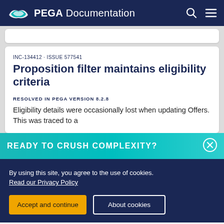PEGA Documentation
INC-134412 · ISSUE 577541
Proposition filter maintains eligibility criteria
RESOLVED IN PEGA VERSION 8.2.8
Eligibility details were occasionally lost when updating Offers. This was traced to a
READY TO CRUSH COMPLEXITY?
By using this site, you agree to the use of cookies.
Read our Privacy Policy
Accept and continue
About cookies